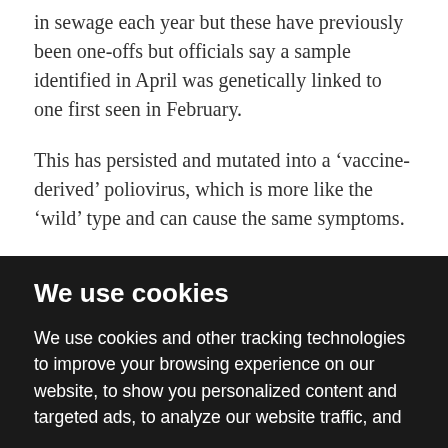in sewage each year but these have previously been one-offs but officials say a sample identified in April was genetically linked to one first seen in February.
This has persisted and mutated into a ‘vaccine-derived’ poliovirus, which is more like the ‘wild’ type and can cause the same symptoms.
Dr Vanessa Saliba, consultant epidemiologist at the UKHSA, said: ‘Vaccine-derived poliovirus is rare and the risk to the public overall is extremely low. Vaccine-derived
We use cookies
We use cookies and other tracking technologies to improve your browsing experience on our website, to show you personalized content and targeted ads, to analyze our website traffic, and